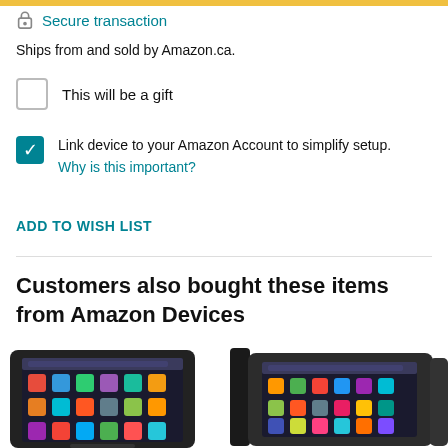Secure transaction
Ships from and sold by Amazon.ca.
This will be a gift
Link device to your Amazon Account to simplify setup. Why is this important?
ADD TO WISH LIST
Customers also bought these items from Amazon Devices
[Figure (photo): Two Amazon Fire tablet devices in black cases shown at angles, displaying the tablet home screen with app icons]
[Figure (photo): Partial view of another Amazon device on the right edge]